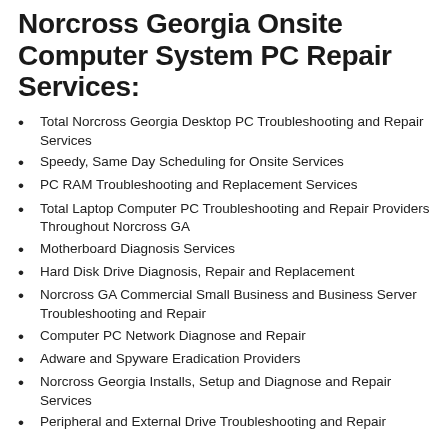Norcross Georgia Onsite Computer System PC Repair Services:
Total Norcross Georgia Desktop PC Troubleshooting and Repair Services
Speedy, Same Day Scheduling for Onsite Services
PC RAM Troubleshooting and Replacement Services
Total Laptop Computer PC Troubleshooting and Repair Providers Throughout Norcross GA
Motherboard Diagnosis Services
Hard Disk Drive Diagnosis, Repair and Replacement
Norcross GA Commercial Small Business and Business Server Troubleshooting and Repair
Computer PC Network Diagnose and Repair
Adware and Spyware Eradication Providers
Norcross Georgia Installs, Setup and Diagnose and Repair Services
Peripheral and External Drive Troubleshooting and Repair